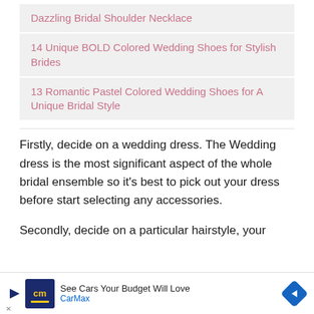Dazzling Bridal Shoulder Necklace
14 Unique BOLD Colored Wedding Shoes for Stylish Brides
13 Romantic Pastel Colored Wedding Shoes for A Unique Bridal Style
Firstly, decide on a wedding dress. The Wedding dress is the most significant aspect of the whole bridal ensemble so it's best to pick out your dress before start selecting any accessories.
Secondly, decide on a particular hairstyle, your
[Figure (screenshot): CarMax advertisement banner: See Cars Your Budget Will Love]